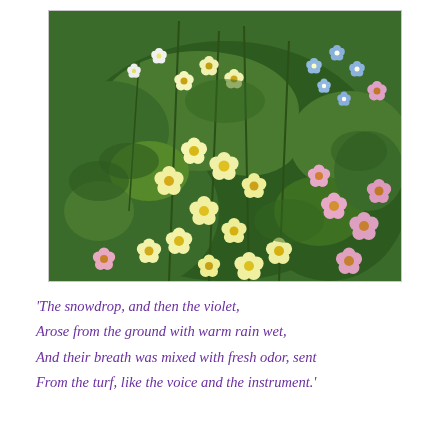[Figure (photo): Photograph of a garden bed dense with yellow and pink primrose flowers amid green foliage, with small blue forget-me-not flowers visible in the upper right area.]
'The snowdrop, and then the violet,
Arose from the ground with warm rain wet,
And their breath was mixed with fresh odor, sent
From the turf, like the voice and the instrument.'